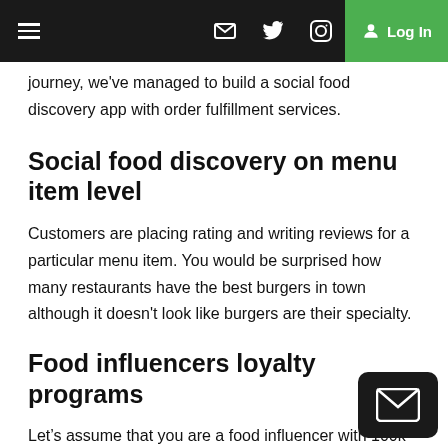☰  ✉  🐦  📷  Log In
journey, we've managed to build a social food discovery app with order fulfillment services.
Social food discovery on menu item level
Customers are placing rating and writing reviews for a particular menu item. You would be surprised how many restaurants have the best burgers in town although it doesn't look like burgers are their specialty.
Food influencers loyalty programs
Let's assume that you are a food influencer with 100k Instagram followers. With just one link your followers can